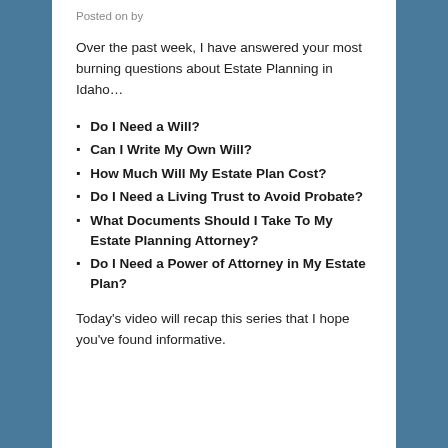Posted on by
Over the past week, I have answered your most burning questions about Estate Planning in Idaho…
Do I Need a Will?
Can I Write My Own Will?
How Much Will My Estate Plan Cost?
Do I Need a Living Trust to Avoid Probate?
What Documents Should I Take To My Estate Planning Attorney?
Do I Need a Power of Attorney in My Estate Plan?
Today's video will recap this series that I hope you've found informative.